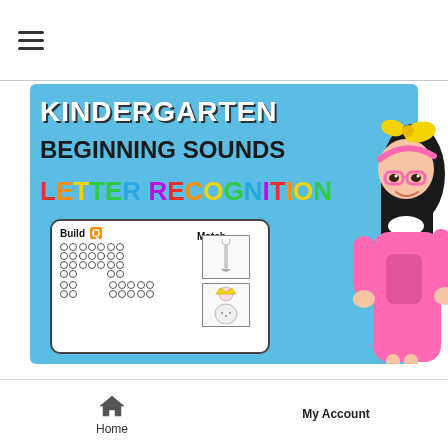≡ (hamburger menu)
[Figure (illustration): Kindergarten Beginning Sounds Letter Recognition educational banner with blue background, colorful text, a worksheet preview showing 'Build Q' dot grid and 'Match' section, and a cartoon girl with yellow bow, black hair, pink glasses, and pink dress on the right side.]
Home   My Account